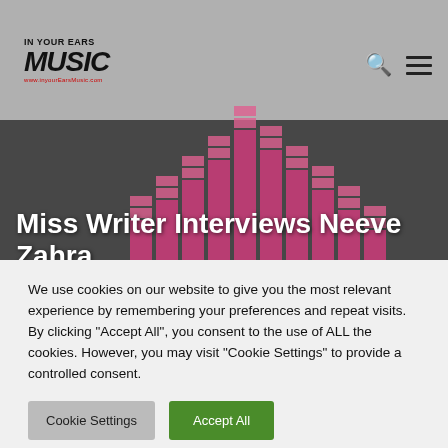[Figure (screenshot): In Your Ears Music website header with logo, search and menu icons, hero band with title, and cookie consent overlay]
Miss Writer Interviews Neeve Zahra
We use cookies on our website to give you the most relevant experience by remembering your preferences and repeat visits. By clicking "Accept All", you consent to the use of ALL the cookies. However, you may visit "Cookie Settings" to provide a controlled consent.